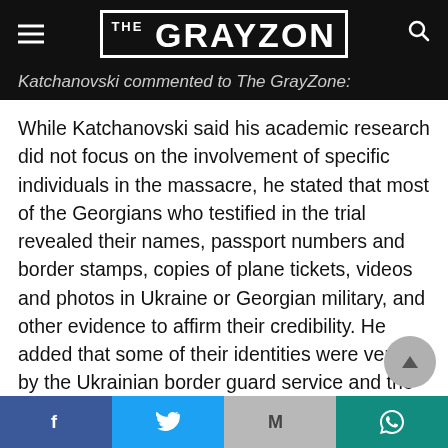THE GRAYZONE
Katchanovski commented to The Grayzone:
While Katchanovski said his academic research did not focus on the involvement of specific individuals in the massacre, he stated that most of the Georgians who testified in the trial revealed their names, passport numbers and border stamps, copies of plane tickets, videos and photos in Ukraine or Georgian military, and other evidence to affirm their credibility. He added that some of their identities were verified by the Ukrainian border guard service and the Armenian and Georgian...